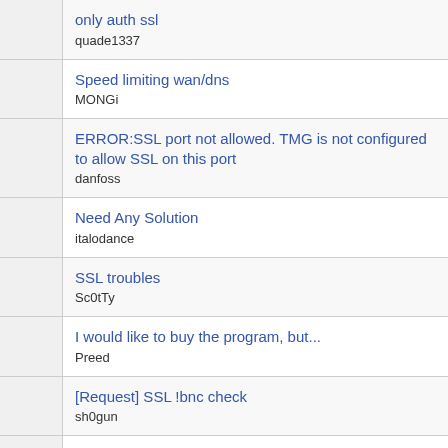only auth ssl
quade1337
Speed limiting wan/dns
MONGi
ERROR:SSL port not allowed. TMG is not configured to allow SSL on this port
danfoss
Need Any Solution
italodance
SSL troubles
Sc0tTy
I would like to buy the program, but...
Preed
[Request] SSL !bnc check
sh0gun
SSl (Connected. Negotiating SSL session)
Stars
Continuing issues with Beta 4.1
SnoBrdr
Still having SSL i...